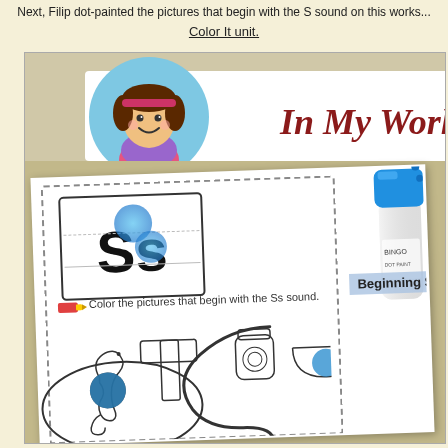Next, Filip dot-painted the pictures that begin with the S sound on this works...
Color It unit.
[Figure (photo): Photo of a child's learning worksheet showing the letter Ss with pictures to identify beginning S sounds. A blue dot painter tool is visible. The worksheet is branded 'In My World' with a cartoon girl logo. The worksheet shows 'Ss' in a box, the instruction 'Color the pictures that begin with the Ss sound.', and illustrations including a seahorse, hammer, jar, and bowl. Blue dots have been painted on the seahorse and bowl (beginning S sounds). The worksheet title area says 'Beginning S'.]